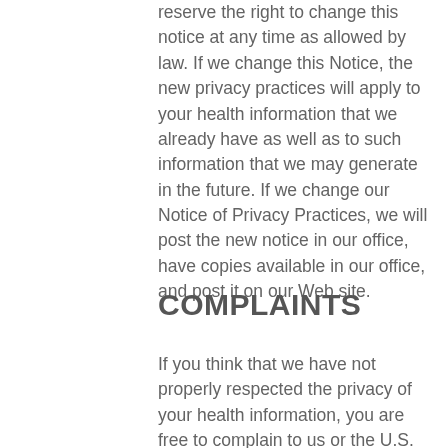reserve the right to change this notice at any time as allowed by law. If we change this Notice, the new privacy practices will apply to your health information that we already have as well as to such information that we may generate in the future. If we change our Notice of Privacy Practices, we will post the new notice in our office, have copies available in our office, and post it on our Web site.
COMPLAINTS
If you think that we have not properly respected the privacy of your health information, you are free to complain to us or the U.S. Department of